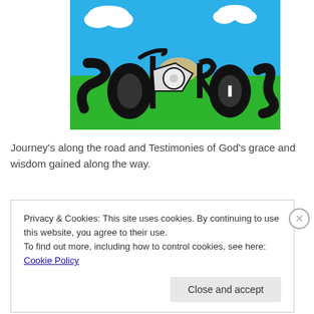[Figure (illustration): Illustrated logo showing the word SOIREES or SOULES formed by a motorcycle with letters made from road-like curving paths, set against a blue sky and green grass background]
Journey's along the road and Testimonies of God's grace and wisdom gained along the way.
Privacy & Cookies: This site uses cookies. By continuing to use this website, you agree to their use.
To find out more, including how to control cookies, see here: Cookie Policy